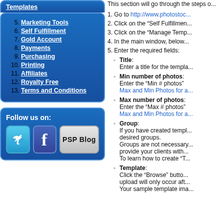Templates
5. Marketing Tools
6. Self Fulfillment
7. Gold Account
8. Payments
9. Purchasing
10. Printing
11. Affiliates
12. Royalty Free
13. Terms and Conditions
Follow us on:
[Figure (other): Social media icons: Twitter bird, Facebook f, PSP Blog button]
This section will go through the steps o...
1. Go to http://www.photostoc...
2. Click on the “Self Fulfillmen...
3. Click on the “Manage Temp...
4. In the main window, below...
5. Enter the required fields:
Title: Enter a title for the templa...
Min number of photos: Enter the “Min # photos”... Max and Min Photos for a...
Max number of photos: Enter the “Max # photos”... Max and Min Photos for a...
Group: If you have created templ... desired groups. Groups are not necessary... provide your clients with... To learn how to create “T...
Template: Click the “Browse” butto... upload will only occur aft... Your sample template ima...